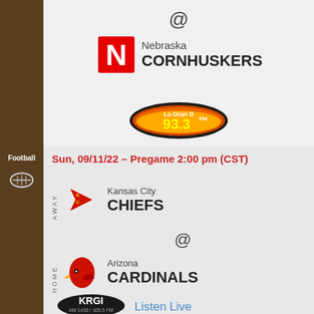[Figure (infographic): Top section: brown sidebar on left, Nebraska Cornhuskers event card with @ symbol, Nebraska N logo, radio station 93.3 La Gran D logo]
@
Nebraska CORNHUSKERS
[Figure (logo): La Gran D 93.3 FM radio station logo]
Football
Sun, 09/11/22 – Pregame 2:00 pm (CST)
AWAY Kansas City CHIEFS
@
HOME Arizona CARDINALS
[Figure (logo): KRGI AM 1430 / 105.5 FM radio station logo]
Listen Live